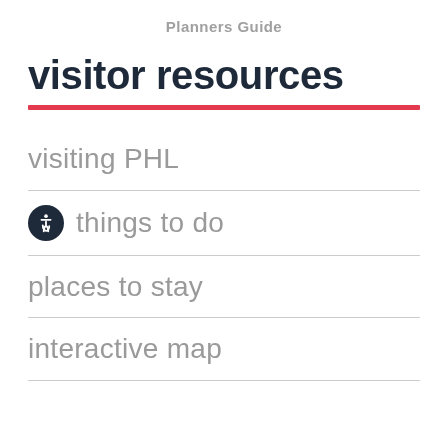Planners Guide
visitor resources
visiting PHL
things to do
places to stay
interactive map